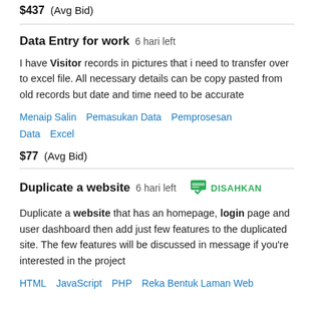$437  (Avg Bid)
Data Entry for work  6 hari left
I have Visitor records in pictures that i need to transfer over to excel file. All necessary details can be copy pasted from old records but date and time need to be accurate
Menaip Salin   Pemasukan Data   Pemprosesan Data   Excel
$77  (Avg Bid)
Duplicate a website  6 hari left  DISAHKAN
Duplicate a website that has an homepage, login page and user dashboard then add just few features to the duplicated site. The few features will be discussed in message if you're interested in the project
HTML   JavaScript   PHP   Reka Bentuk Laman Web